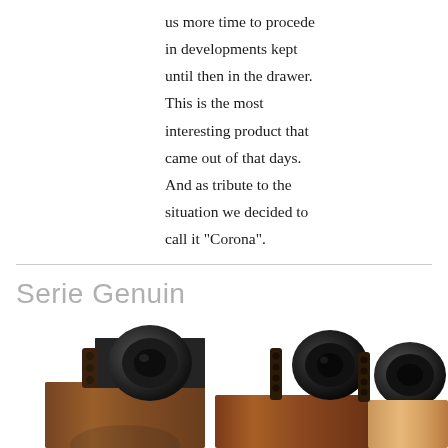us more time to procede in developments kept until then in the drawer. This is the most interesting product that came out of that days. And as tribute to the situation we decided to call it "Corona".
Serie Genuin
[Figure (photo): Three high-end loudspeaker systems with wooden cabinets and horn-type tweeters, shown side by side from left to right, partially cropped at the bottom of the page.]